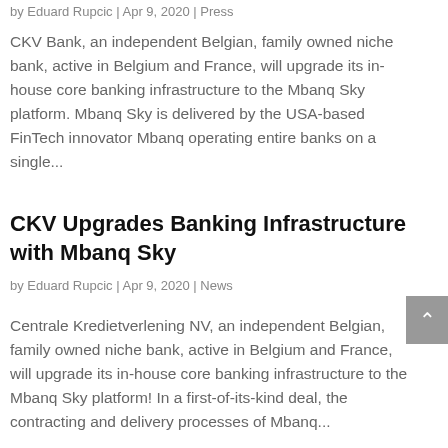by Eduard Rupcic | Apr 9, 2020 | Press
CKV Bank, an independent Belgian, family owned niche bank, active in Belgium and France, will upgrade its in-house core banking infrastructure to the Mbanq Sky platform. Mbanq Sky is delivered by the USA-based FinTech innovator Mbanq operating entire banks on a single...
CKV Upgrades Banking Infrastructure with Mbanq Sky
by Eduard Rupcic | Apr 9, 2020 | News
Centrale Kredietverlening NV, an independent Belgian, family owned niche bank, active in Belgium and France, will upgrade its in-house core banking infrastructure to the Mbanq Sky platform! In a first-of-its-kind deal, the contracting and delivery processes of Mbanq...